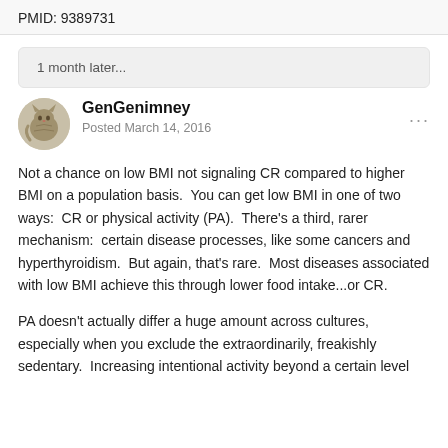PMID: 9389731
1 month later...
GenGenimney
Posted March 14, 2016
Not a chance on low BMI not signaling CR compared to higher BMI on a population basis.  You can get low BMI in one of two ways:  CR or physical activity (PA).  There's a third, rarer mechanism:  certain disease processes, like some cancers and hyperthyroidism.  But again, that's rare.  Most diseases associated with low BMI achieve this through lower food intake...or CR.
PA doesn't actually differ a huge amount across cultures, especially when you exclude the extraordinarily, freakishly sedentary.  Increasing intentional activity beyond a certain level